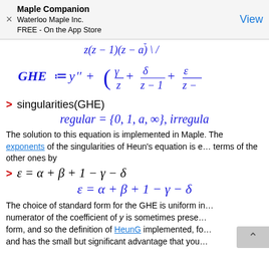Maple Companion | Waterloo Maple Inc. | FREE - On the App Store | View
The solution to this equation is implemented in Maple. The exponents of the singularities of Heun's equation is e... terms of the other ones by
The choice of standard form for the GHE is uniform in... numerator of the coefficient of y is sometimes prese... form, and so the definition of HeunG implemented, fo... and has the small but significant advantage that you...